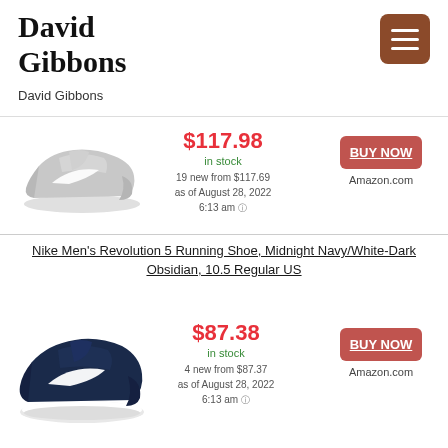David Gibbons
David Gibbons
[Figure (screenshot): Hamburger menu icon (three horizontal lines) on brown/dark orange rounded square background]
[Figure (photo): Gray Nike Free RN running shoe facing right]
$117.98
in stock
19 new from $117.69
as of August 28, 2022
6:13 am
BUY NOW
Amazon.com
Nike Men's Revolution 5 Running Shoe, Midnight Navy/White-Dark Obsidian, 10.5 Regular US
[Figure (photo): Navy blue Nike Revolution 5 running shoe facing right]
$87.38
in stock
4 new from $87.37
as of August 28, 2022
6:13 am
BUY NOW
Amazon.com